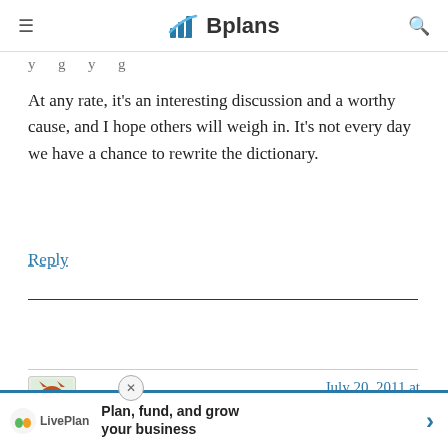Bplans
At any rate, it's an interesting discussion and a worthy cause, and I hope others will weigh in. It's not every day we have a chance to rewrite the dictionary.
Reply
Tim S. McEneny says:
July 20, 2011 at 10:34 am
I sugge... d help avoid t...
[Figure (screenshot): LivePlan advertisement bar at the bottom: Plan, fund, and grow your business]